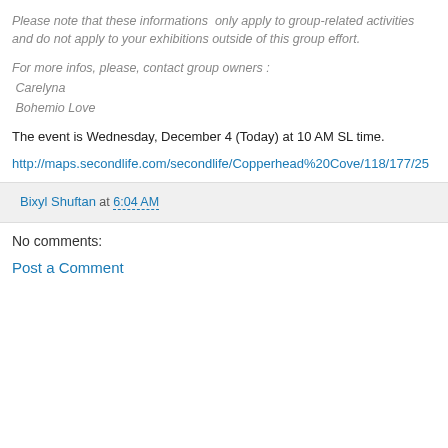Please note that these informations only apply to group-related activities and do not apply to your exhibitions outside of this group effort.
For more infos, please, contact group owners :
 Carelyna
 Bohemio Love
The event is Wednesday, December 4 (Today) at 10 AM SL time.
http://maps.secondlife.com/secondlife/Copperhead%20Cove/118/177/25
Bixyl Shuftan at 6:04 AM
No comments:
Post a Comment